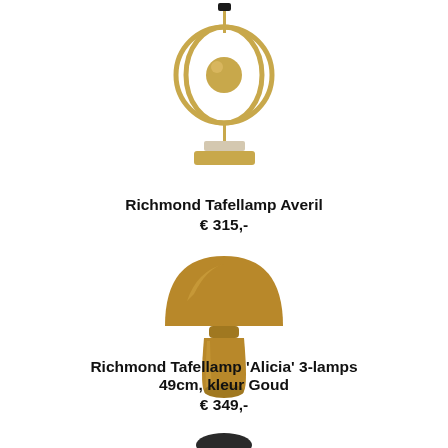[Figure (photo): Gold/brass art-deco table lamp base named Averil — concentric rings around a sphere, sitting on a marble rectangular base, with a black lamp socket at top.]
Richmond Tafellamp Averil
€ 315,-
[Figure (photo): Gold/brass mushroom-shaped table lamp named Alicia — dome-shaped shade atop a cylindrical body, all in a warm gold/bronze color.]
Richmond Tafellamp 'Alicia' 3-lamps 49cm, kleur Goud
€ 349,-
[Figure (photo): Partial view of a third lamp at the bottom of the page — appears dark/black, only top portion visible.]